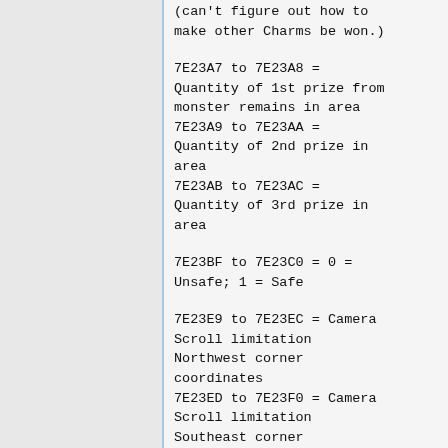(can't figure out how to make other Charms be won.)
7E23A7 to 7E23A8 = Quantity of 1st prize from monster remains in area
7E23A9 to 7E23AA = Quantity of 2nd prize in area
7E23AB to 7E23AC = Quantity of 3rd prize in area
7E23BF to 7E23C0 = 0 = Unsafe; 1 = Safe
7E23E9 to 7E23EC = Camera Scroll limitation Northwest corner coordinates
7E23ED to 7E23F0 = Camera Scroll limitation Southeast corner coordinates
7E4A01 to 7E4A00 = (0...